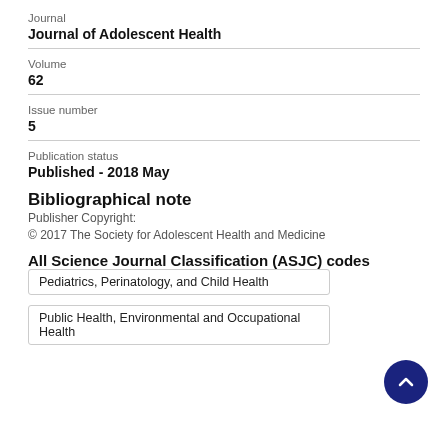Journal
Journal of Adolescent Health
Volume
62
Issue number
5
Publication status
Published - 2018 May
Bibliographical note
Publisher Copyright:
© 2017 The Society for Adolescent Health and Medicine
All Science Journal Classification (ASJC) codes
Pediatrics, Perinatology, and Child Health
Public Health, Environmental and Occupational Health